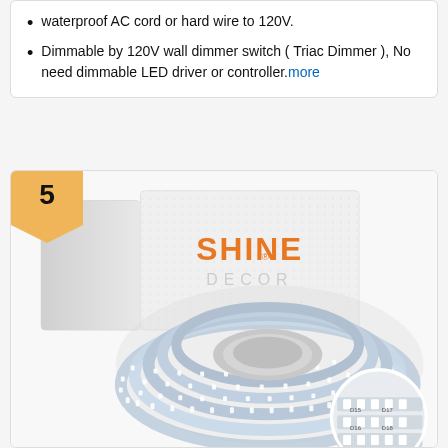waterproof AC cord or hard wire to 120V.
Dimmable by 120V wall dimmer switch ( Triac Dimmer ), No need dimmable LED driver or controller. more
[Figure (photo): Product listing card showing rank badge '5' and a photo of a SHINE DECOR LED strip light on a spool/reel with a white product box behind it. The LED strip is white/cool white and wound on a circular reel. A circular inset shows close-up of LED strip segments labeled D15, D17, D16, D18.]